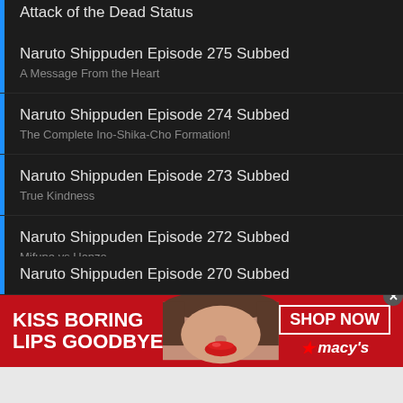Attack of the Dead Status (partial, top)
Naruto Shippuden Episode 275 Subbed
A Message From the Heart
Naruto Shippuden Episode 274 Subbed
The Complete Ino-Shika-Cho Formation!
Naruto Shippuden Episode 273 Subbed
True Kindness
Naruto Shippuden Episode 272 Subbed
Mifune vs Hanzo
Naruto Shippuden Episode 271 Subbed
[Filler] Road to Sakura
Naruto Shippuden Episode 270 Subbed (partial, bottom)
[Figure (screenshot): Macy's advertisement banner: red background with 'KISS BORING LIPS GOODBYE' text on left, woman's face with red lips in center, 'SHOP NOW' button and Macy's star logo on right]